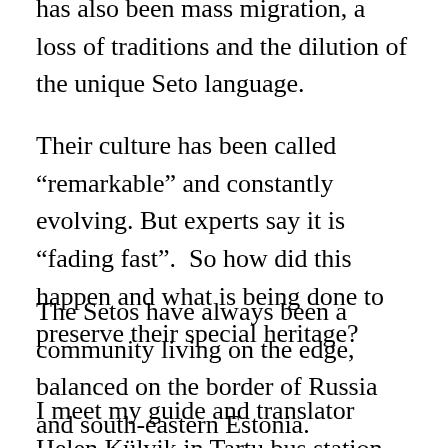has also been mass migration, a loss of traditions and the dilution of the unique Seto language.
Their culture has been called “remarkable” and constantly evolving. But experts say it is “fading fast”.  So how did this happen and what is being done to preserve their special heritage?
The Setos have always been a community living on the edge, balanced on the border of Russia and south-eastern Estonia.
I meet my guide and translator Helen Külvik in Tartu bus station the night after the first snow of the